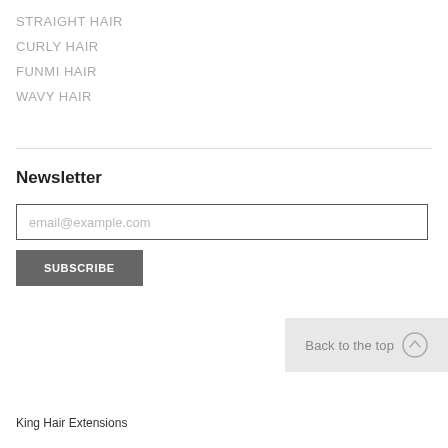STRAIGHT HAIR
CURLY HAIR
FUNMI HAIR
WAVY HAIR
Newsletter
email@example.com
SUBSCRIBE
Back to the top
King Hair Extensions